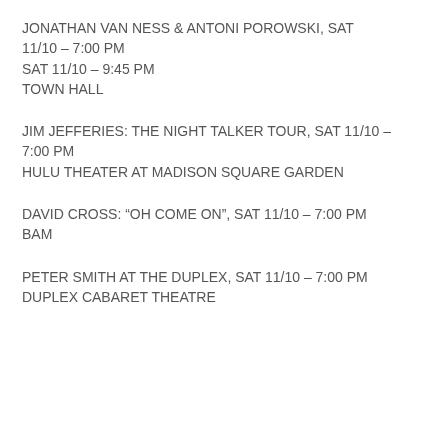JONATHAN VAN NESS & ANTONI POROWSKI, SAT 11/10 – 7:00 PM
SAT 11/10 – 9:45 PM
TOWN HALL
JIM JEFFERIES: THE NIGHT TALKER TOUR, SAT 11/10 – 7:00 PM
HULU THEATER AT MADISON SQUARE GARDEN
DAVID CROSS: “OH COME ON”, SAT 11/10 – 7:00 PM
BAM
PETER SMITH AT THE DUPLEX, SAT 11/10 – 7:00 PM
DUPLEX CABARET THEATRE